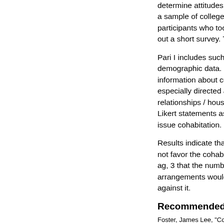determine attitudes tow a sample of college stu participants who took p out a short survey. The
Pari I includes such ite demographic data. Par information about curre especially directed at th relationships / househo Likert statements aski issue cohabitation.
Results indicate that a not favor the cohabitati ag, 3 that the number o arrangements would in against it.
Recommended Citat
Foster, James Lee, "Cohabitation Congruence of the Law and Atitu (2006). Theses and Dissertations. https://commons.und.edu/theses/